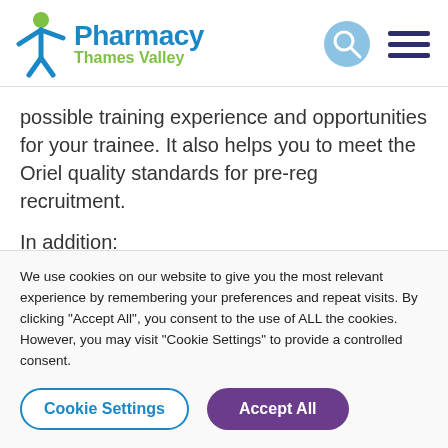[Figure (logo): Pharmacy Thames Valley logo with figure icon in blue and green]
possible training experience and opportunities for your trainee. It also helps you to meet the Oriel quality standards for pre-reg recruitment.
In addition:
This a great opportunity to provide evidence for one of
We use cookies on our website to give you the most relevant experience by remembering your preferences and repeat visits. By clicking "Accept All", you consent to the use of ALL the cookies. However, you may visit "Cookie Settings" to provide a controlled consent.
Cookie Settings
Accept All